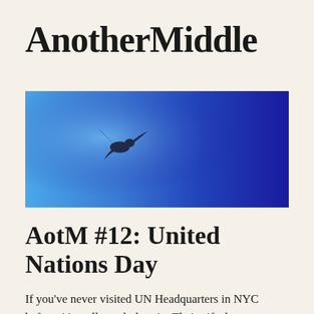AnotherMiddle
[Figure (photo): A bird in flight against a gradient blue sky background, ranging from light blue on the left to deep dark blue/indigo on the right.]
AotM #12: United Nations Day
If you've never visited UN Headquarters in NYC before, it's well worth the trip. Their gift shop